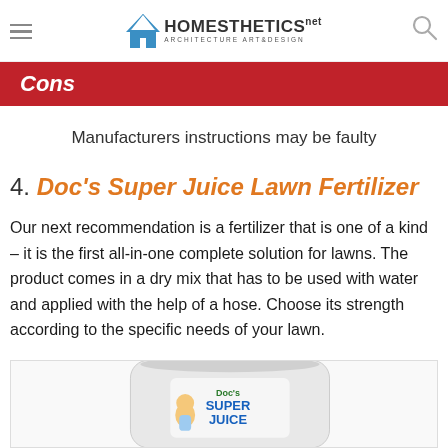Homesthetics — Architecture Art & Design
Cons
Manufacturers instructions may be faulty
4. Doc's Super Juice Lawn Fertilizer
Our next recommendation is a fertilizer that is one of a kind – it is the first all-in-one complete solution for lawns. The product comes in a dry mix that has to be used with water and applied with the help of a hose. Choose its strength according to the specific needs of your lawn.
[Figure (photo): Doc's Super Juice Lawn Fertilizer product bag with cartoon character and blue/green branding]